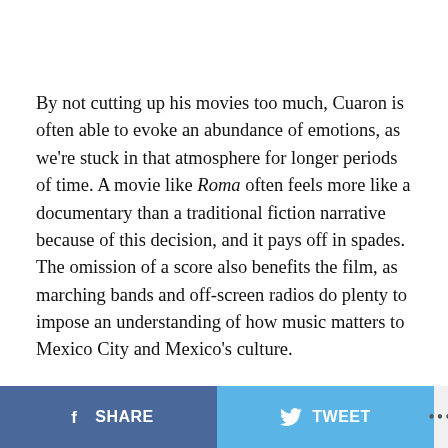By not cutting up his movies too much, Cuaron is often able to evoke an abundance of emotions, as we're stuck in that atmosphere for longer periods of time. A movie like Roma often feels more like a documentary than a traditional fiction narrative because of this decision, and it pays off in spades. The omission of a score also benefits the film, as marching bands and off-screen radios do plenty to impose an understanding of how music matters to Mexico City and Mexico's culture.
Roma is quite easily a masterpiece, an absorbing tale that will have you laughing, crying, and trapped in its
SHARE   TWEET   ...